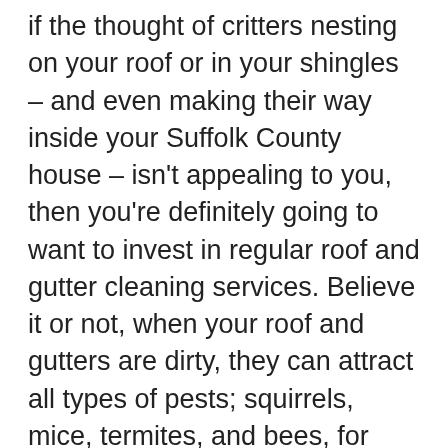if the thought of critters nesting on your roof or in your shingles – and even making their way inside your Suffolk County house – isn't appealing to you, then you're definitely going to want to invest in regular roof and gutter cleaning services. Believe it or not, when your roof and gutters are dirty, they can attract all types of pests; squirrels, mice, termites, and bees, for example. These pests can feed on or nest in the organic matter that collects on the roof and in the gutters. Not only can these pests cause serious damages that require costly repairs, but they can also make their way inside your home.
To keep pests at bay, make arrangements to have a North Sea, NY roof cleaning professional